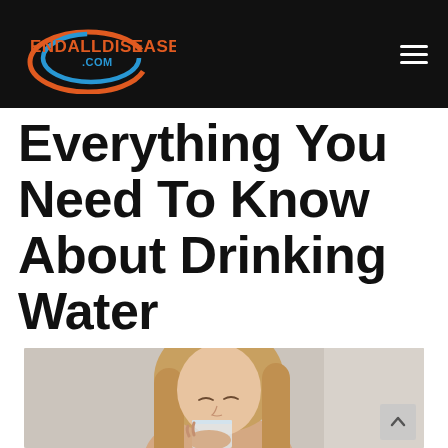ENDALLDISEASE.COM
Everything You Need To Know About Drinking Water
[Figure (photo): A young woman with long blonde hair drinking from a glass of water, eyes closed, holding the glass up to her mouth.]